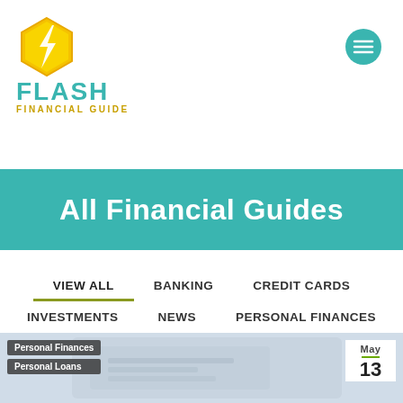[Figure (logo): Flash Financial Guide logo with lightning bolt icon, teal FLASH text, and gold FINANCIAL GUIDE subtext]
All Financial Guides
VIEW ALL
BANKING
CREDIT CARDS
INVESTMENTS
NEWS
PERSONAL FINANCES
PERSONAL LOANS
[Figure (photo): Article card preview showing Personal Finances and Personal Loans tags on the left, a phone/card image in the background, and a date badge showing May 13 on the right]